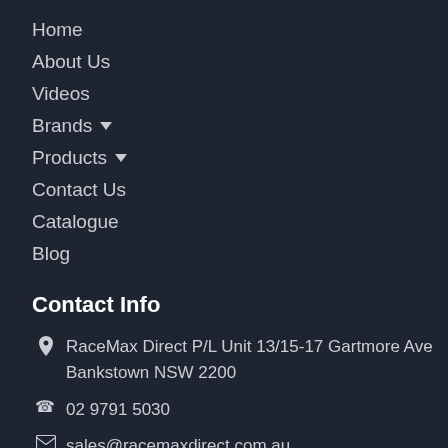Home
About Us
Videos
Brands ▾
Products ▾
Contact Us
Catalogue
Blog
Contact Info
RaceMax Direct P/L Unit 13/15-17 Gartmore Ave Bankstown NSW 2200
02 9791 5030
sales@racemaxdirect.com.au